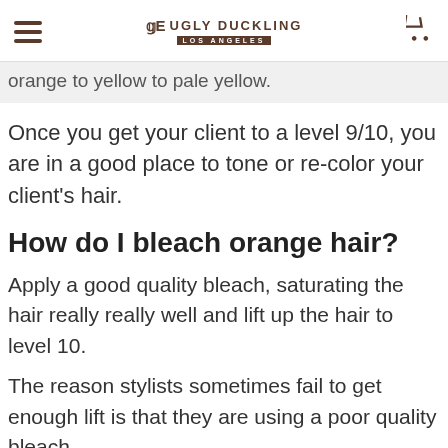Ugly Duckling Los Angeles
orange to yellow to pale yellow.
Once you get your client to a level 9/10, you are in a good place to tone or re-color your client's hair.
How do I bleach orange hair?
Apply a good quality bleach, saturating the hair really really well and lift up the hair to level 10.
The reason stylists sometimes fail to get enough lift is that they are using a poor quality bleach.
We would really suggest that you use Ugly Duckling's